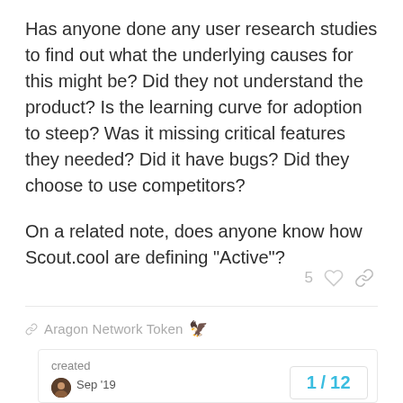Has anyone done any user research studies to find out what the underlying causes for this might be? Did they not understand the product? Is the learning curve for adoption to steep? Was it missing critical features they needed? Did it have bugs? Did they choose to use competitors?
On a related note, does anyone know how Scout.cool are defining “Active”?
5
§ Aragon Network Token 🦅
created
Sep '19
last reply
Sep '19
11
1 / 12